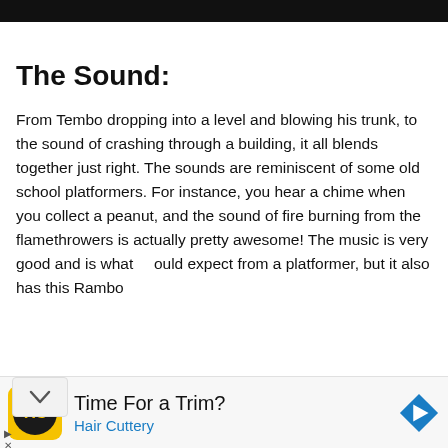The Sound:
From Tembo dropping into a level and blowing his trunk, to the sound of crashing through a building, it all blends together just right. The sounds are reminiscent of some old school platformers. For instance, you hear a chime when you collect a peanut, and the sound of fire burning from the flamethrowers is actually pretty awesome! The music is very good and is what you would expect from a platformer, but it also has this Rambo
[Figure (other): Advertisement banner for Hair Cuttery with yellow/black logo, text 'Time For a Trim?' and 'Hair Cuttery' in blue, and a blue navigation arrow icon on the right.]